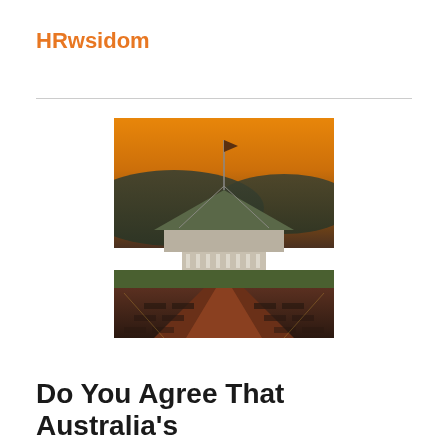HRwsidom
[Figure (photo): Aerial/elevated dusk photo of Australian Parliament House in Canberra, with a flagpole at center, forested hills in the background under an orange-golden sunset sky, and a wide ceremonial avenue leading toward the camera in the foreground.]
Do You Agree That Australia's